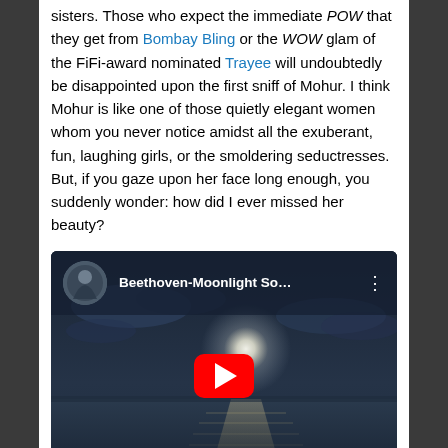sisters. Those who expect the immediate POW that they get from Bombay Bling or the WOW glam of the FiFi-award nominated Trayee will undoubtedly be disappointed upon the first sniff of Mohur. I think Mohur is like one of those quietly elegant women whom you never notice amidst all the exuberant, fun, laughing girls, or the smoldering seductresses. But, if you gaze upon her face long enough, you suddenly wonder: how did I ever missed her beauty?
[Figure (screenshot): Embedded YouTube video player thumbnail showing Beethoven-Moonlight Sonata with a moonlit lake scene at night. Red YouTube play button centered on the thumbnail.]